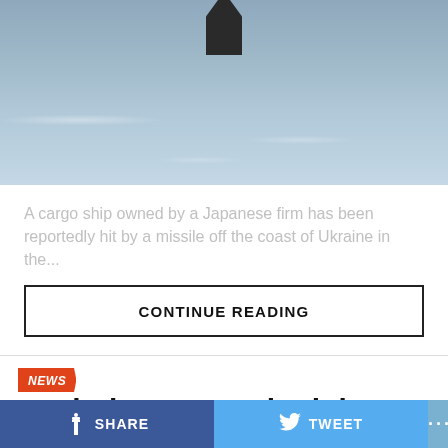[Figure (photo): A cargo ship on the sea, photo cropped showing water and a dark ship silhouette at the top]
A cargo ship owned by a Japanese firm has been reportedly hit by a missile off the coast of Ukraine in the...
CONTINUE READING
NEWS
Patriotism: Two Ukrainian Kids Seen Paying Respect To The Troop [PHOTO]
SHARE
TWEET
...